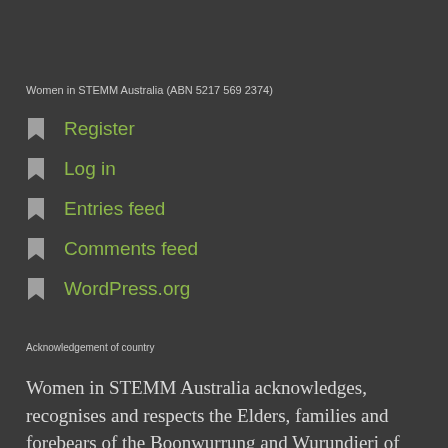Women in STEMM Australia (ABN 5217 569 2374)
Register
Log in
Entries feed
Comments feed
WordPress.org
Acknowledgement of country
Women in STEMM Australia acknowledges, recognises and respects the Elders, families and forebears of the Boonwurrung and Wurundjeri of the Kulin nation who are the traditional owners of the land where we are located